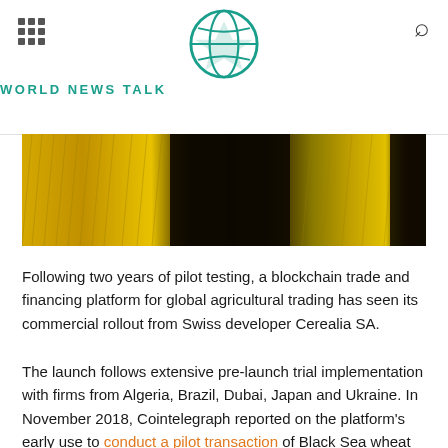WORLD NEWS TALK
[Figure (photo): Close-up photo of golden agricultural crops/grain field with dark silhouetted figures, yellow and dark tones]
Following two years of pilot testing, a blockchain trade and financing platform for global agricultural trading has seen its commercial rollout from Swiss developer Cerealia SA.
The launch follows extensive pre-launch trial implementation with firms from Algeria, Brazil, Dubai, Japan and Ukraine. In November 2018, Cointelegraph reported on the platform's early use to conduct a pilot transaction of Black Sea wheat from the Russian port city of Novorossiysk.